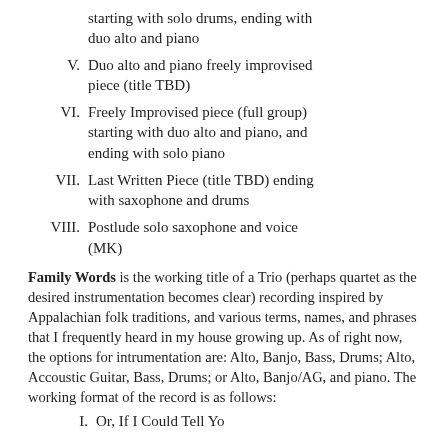starting with solo drums, ending with duo alto and piano
V. Duo alto and piano freely improvised piece (title TBD)
VI. Freely Improvised piece (full group) starting with duo alto and piano, and ending with solo piano
VII. Last Written Piece (title TBD) ending with saxophone and drums
VIII. Postlude solo saxophone and voice (MK)
Family Words is the working title of a Trio (perhaps quartet as the desired instrumentation becomes clear) recording inspired by Appalachian folk traditions, and various terms, names, and phrases that I frequently heard in my house growing up. As of right now, the options for intrumentation are: Alto, Banjo, Bass, Drums; Alto, Accoustic Guitar, Bass, Drums; or Alto, Banjo/AG, and piano. The working format of the record is as follows:
I. Or, If I Could Tell Yo...